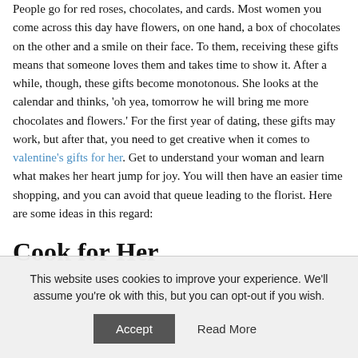People go for red roses, chocolates, and cards. Most women you come across this day have flowers, on one hand, a box of chocolates on the other and a smile on their face. To them, receiving these gifts means that someone loves them and takes time to show it. After a while, though, these gifts become monotonous. She looks at the calendar and thinks, 'oh yea, tomorrow he will bring me more chocolates and flowers.' For the first year of dating, these gifts may work, but after that, you need to get creative when it comes to valentine's gifts for her. Get to understand your woman and learn what makes her heart jump for joy. You will then have an easier time shopping, and you can avoid that queue leading to the florist. Here are some ideas in this regard:
Cook for Her
This website uses cookies to improve your experience. We'll assume you're ok with this, but you can opt-out if you wish.